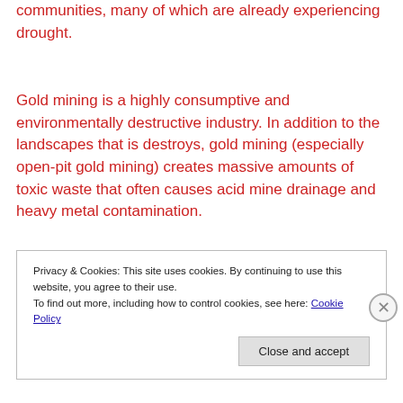communities, many of which are already experiencing drought.
Gold mining is a highly consumptive and environmentally destructive industry. In addition to the landscapes that is destroys, gold mining (especially open-pit gold mining) creates massive amounts of toxic waste that often causes acid mine drainage and heavy metal contamination.
Privacy & Cookies: This site uses cookies. By continuing to use this website, you agree to their use.
To find out more, including how to control cookies, see here: Cookie Policy